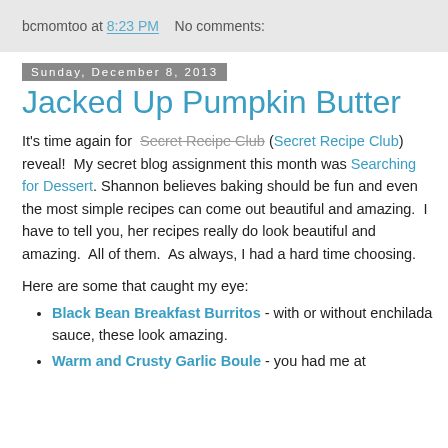bcmomtoo at 8:23 PM   No comments:
Sunday, December 8, 2013
Jacked Up Pumpkin Butter
It's time again for Secret Recipe Club (Secret Recipe Club) reveal!  My secret blog assignment this month was Searching for Dessert. Shannon believes baking should be fun and even the most simple recipes can come out beautiful and amazing.  I have to tell you, her recipes really do look beautiful and amazing.  All of them.  As always, I had a hard time choosing.
Here are some that caught my eye:
Black Bean Breakfast Burritos - with or without enchilada sauce, these look amazing.
Warm and Crusty Garlic Boule - you had me at